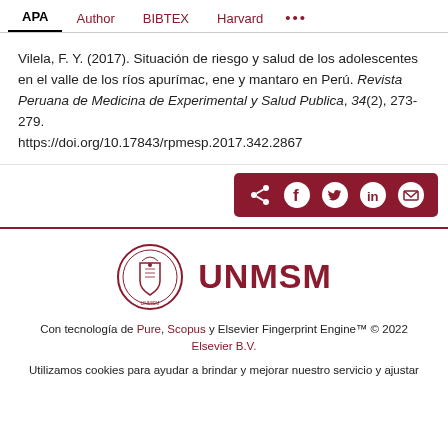APA | Author | BIBTEX | Harvard | ...
Vilela, F. Y. (2017). Situación de riesgo y salud de los adolescentes en el valle de los ríos apurímac, ene y mantaro en Perú. Revista Peruana de Medicina de Experimental y Salud Publica, 34(2), 273-279. https://doi.org/10.17843/rpmesp.2017.342.2867
[Figure (other): Social share buttons bar with icons for share, Facebook, Twitter, LinkedIn, email on dark red background]
[Figure (logo): UNMSM university seal/crest logo in dark red on left, UNMSM text in large dark red bold letters on right]
Con tecnología de Pure, Scopus y Elsevier Fingerprint Engine™ © 2022 Elsevier B.V.
Utilizamos cookies para ayudar a brindar y mejorar nuestro servicio y ajustar